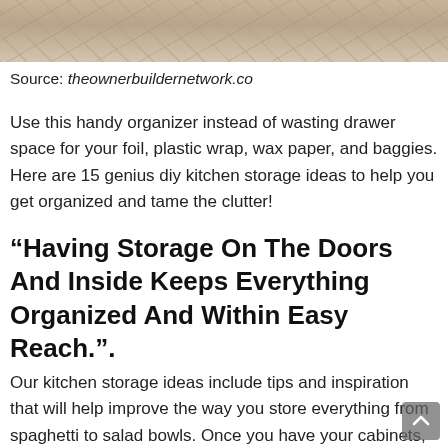[Figure (photo): Close-up photo of tile or stone floor/surface with beige and brown tones, partially visible at top of page]
Source: theownerbuildernetwork.co
Use this handy organizer instead of wasting drawer space for your foil, plastic wrap, wax paper, and baggies. Here are 15 genius diy kitchen storage ideas to help you get organized and tame the clutter!
“Having Storage On The Doors And Inside Keeps Everything Organized And Within Easy Reach.”.
Our kitchen storage ideas include tips and inspiration that will help improve the way you store everything from spaghetti to salad bowls. Once you have your cabinets, organize them to